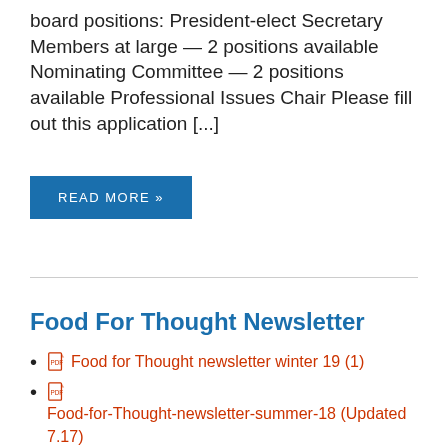board positions: President-elect Secretary Members at large — 2 positions available Nominating Committee — 2 positions available Professional Issues Chair Please fill out this application [...]
READ MORE »
Food For Thought Newsletter
Food for Thought newsletter winter 19 (1)
Food-for-Thought-newsletter-summer-18 (Updated 7.17)
Winter 2016
Fall/Winter 2016
Winter 2015